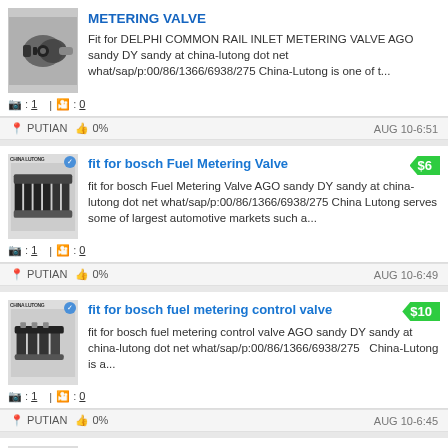METERING VALVE
Fit for DELPHI COMMON RAIL INLET METERING VALVE AGO sandy DY sandy at china-lutong dot net what/sap/p:00/86/1366/6938/275 China-Lutong is one of t…
📷 : 1 | 🎥 : 0
📍 PUTIAN  👍 0%    AUG 10-6:51
fit for bosch Fuel Metering Valve
$6
fit for bosch Fuel Metering Valve AGO sandy DY sandy at china-lutong dot net what/sap/p:00/86/1366/6938/275 China Lutong serves some of largest automotive markets such a…
📷 : 1 | 🎥 : 0
📍 PUTIAN  👍 0%    AUG 10-6:49
fit for bosch fuel metering control valve
$10
fit for bosch fuel metering control valve AGO sandy DY sandy at china-lutong dot net what/sap/p:00/86/1366/6938/275   China-Lutong is a…
📷 : 1 | 🎥 : 0
📍 PUTIAN  👍 0%    AUG 10-6:45
fit for Bosch Fuel Injection Metering Unit
$10
fit for Bosch Fuel Injection Metering Unit AGO sandy DY sandy at china-lutong dot net what/sap/p:00/86/1366/6938/275   Company Information  …
📷 : 1 | 🎥 : 0